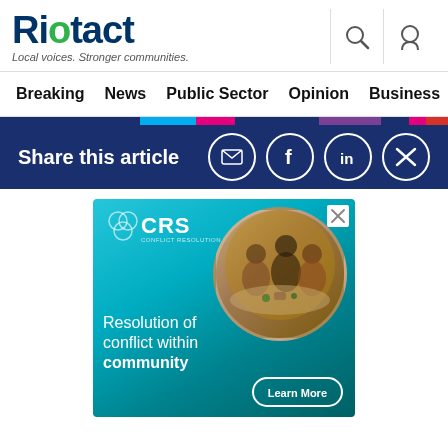Riotact — Local voices. Stronger communities.
Breaking  News  Public Sector  Opinion  Business  R…
Share this article
[Figure (infographic): CRS (Conflict Resolution Service) advertisement with teal background, circular photo of people around a table, text 'Resolution of conflict within community' and a Learn More button.]